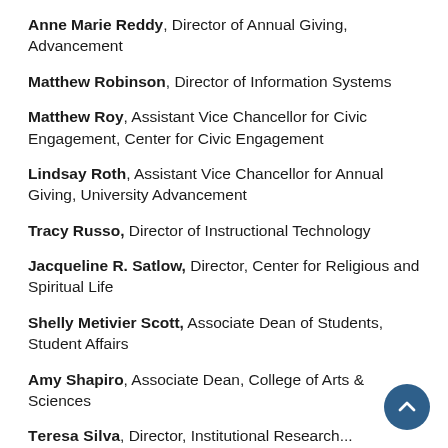Anne Marie Reddy, Director of Annual Giving, Advancement
Matthew Robinson, Director of Information Systems
Matthew Roy, Assistant Vice Chancellor for Civic Engagement, Center for Civic Engagement
Lindsay Roth, Assistant Vice Chancellor for Annual Giving, University Advancement
Tracy Russo, Director of Instructional Technology
Jacqueline R. Satlow, Director, Center for Religious and Spiritual Life
Shelly Metivier Scott, Associate Dean of Students, Student Affairs
Amy Shapiro, Associate Dean, College of Arts & Sciences
Teresa Silva, Director, Institutional Research...